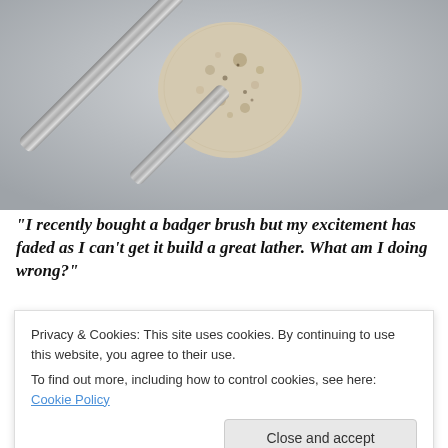[Figure (photo): Close-up photograph of a shaving brush with a pumice-like stone head resting on a metallic razor handle, on a grey background.]
“I recently bought a badger brush but my excitement has faded as I can’t get it build a great lather. What am I doing wrong?”
Privacy & Cookies: This site uses cookies. By continuing to use this website, you agree to their use.
To find out more, including how to control cookies, see here: Cookie Policy
Close and accept
pacing back and forth keeping a lot of noise. When I asked